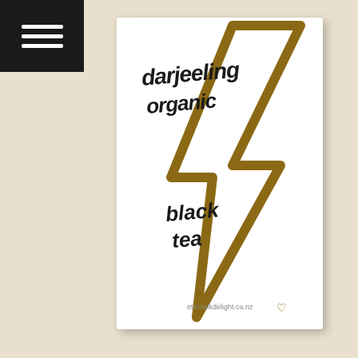[Figure (screenshot): Hamburger menu icon (three white horizontal lines on dark background) in top-left corner]
[Figure (photo): Product package image for Darjeeling Organic Black Tea. White rectangular tea package with handwritten-style text reading 'darjeeling organic' and 'black tea', overlaid with a large gold/brown lightning bolt graphic. Small logo at bottom reading 'eternalkdelight.co.nz']
♡  Add to Wishlist
Darjeeling – Organic Tea
$3.99  –  $122.99